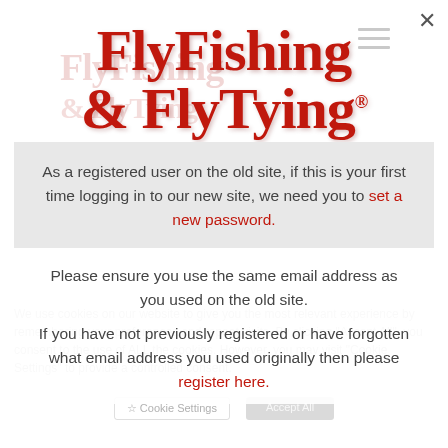[Figure (logo): Fly Fishing & Fly Tying magazine logo in bold red serif text]
As a registered user on the old site, if this is your first time logging in to our new site, we need you to set a new password.
Please ensure you use the same email address as you used on the old site.

If you have not previously registered or have forgotten what email address you used originally then please register here.